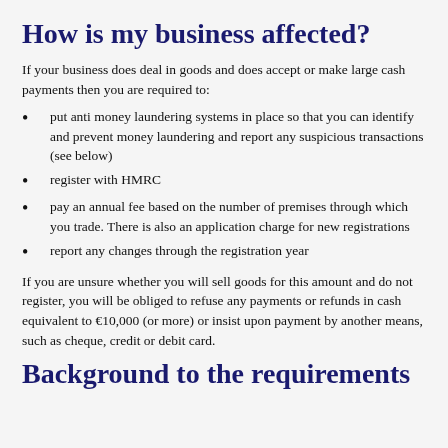How is my business affected?
If your business does deal in goods and does accept or make large cash payments then you are required to:
put anti money laundering systems in place so that you can identify and prevent money laundering and report any suspicious transactions (see below)
register with HMRC
pay an annual fee based on the number of premises through which you trade. There is also an application charge for new registrations
report any changes through the registration year
If you are unsure whether you will sell goods for this amount and do not register, you will be obliged to refuse any payments or refunds in cash equivalent to €10,000 (or more) or insist upon payment by another means, such as cheque, credit or debit card.
Background to the requirements